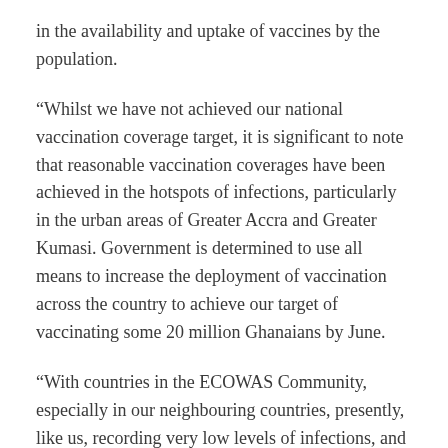in the availability and uptake of vaccines by the population.
“Whilst we have not achieved our national vaccination coverage target, it is significant to note that reasonable vaccination coverages have been achieved in the hotspots of infections, particularly in the urban areas of Greater Accra and Greater Kumasi. Government is determined to use all means to increase the deployment of vaccination across the country to achieve our target of vaccinating some 20 million Ghanaians by June.
“With countries in the ECOWAS Community, especially in our neighbouring countries, presently, like us, recording very low levels of infections, and having significant numbers of our people vaccinated, and on the advice of the national COVID-19 Taskforce and the health experts, I have taken the decision to revise the COVID-19